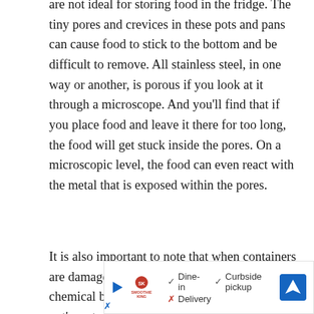are not ideal for storing food in the fridge. The tiny pores and crevices in these pots and pans can cause food to stick to the bottom and be difficult to remove. All stainless steel, in one way or another, is porous if you look at it through a microscope. And you'll find that if you place food and leave it there for too long, the food will get stuck inside the pores. On a microscopic level, the food can even react with the metal that is exposed within the pores.
It is also important to note that when containers are damaged or have pits or holes, it causes chemical bonding between the food and the pot's material. In some cases, this may cause health
[Figure (other): Advertisement banner for Smoothie King showing dine-in, curbside pickup, and delivery options with a navigation icon]